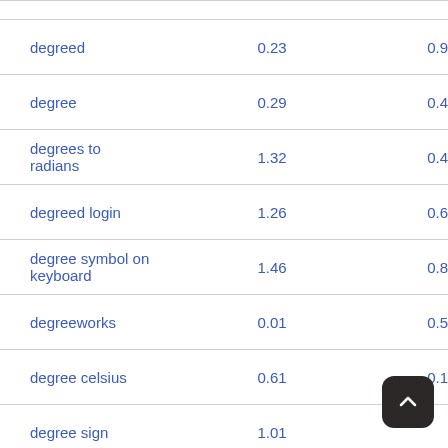| keyword | col1 | col2 |
| --- | --- | --- |
| degreed | 0.23 | 0.9… |
| degree | 0.29 | 0.4… |
| degrees to radians | 1.32 | 0.4… |
| degreed login | 1.26 | 0.6… |
| degree symbol on keyboard | 1.46 | 0.8… |
| degreeworks | 0.01 | 0.5… |
| degree celsius | 0.61 | 0.1… |
| degree sign | 1.01 | … |
| degrees of lewdity wiki | 0.07 | 0.2… |